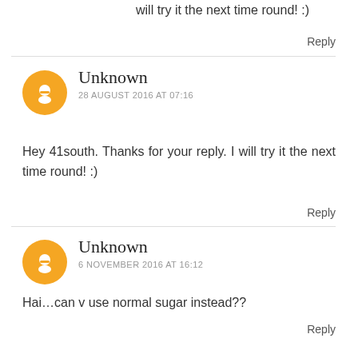will try it the next time round! :)
Reply
Unknown
28 AUGUST 2016 AT 07:16
Hey 41south. Thanks for your reply. I will try it the next time round! :)
Reply
Unknown
6 NOVEMBER 2016 AT 16:12
Hai…can v use normal sugar instead??
Reply
Siok Mei Koh
11 MARCH 2017 AT 09:03
This is one of my favorite chocolate cake recipes. I can whip it up any time